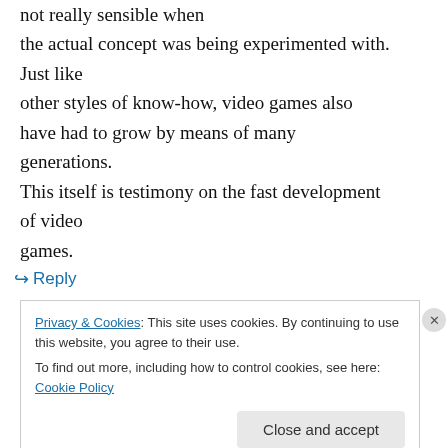not really sensible when the actual concept was being experimented with. Just like other styles of know-how, video games also have had to grow by means of many generations. This itself is testimony on the fast development of video games.
↪ Reply
Privacy & Cookies: This site uses cookies. By continuing to use this website, you agree to their use. To find out more, including how to control cookies, see here: Cookie Policy
Close and accept